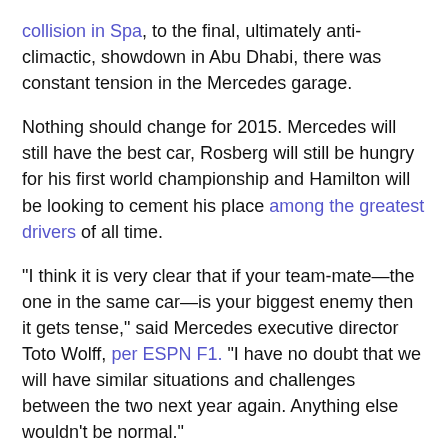collision in Spa, to the final, ultimately anti-climactic, showdown in Abu Dhabi, there was constant tension in the Mercedes garage.
Nothing should change for 2015. Mercedes will still have the best car, Rosberg will still be hungry for his first world championship and Hamilton will be looking to cement his place among the greatest drivers of all time.
"I think it is very clear that if your team-mate—the one in the same car—is your biggest enemy then it gets tense," said Mercedes executive director Toto Wolff, per ESPN F1. "I have no doubt that we will have similar situations and challenges between the two next year again. Anything else wouldn't be normal."
Follow me on Twitter [Previous button] when I publish new articles and for other (mostly) F1-related news and banter: